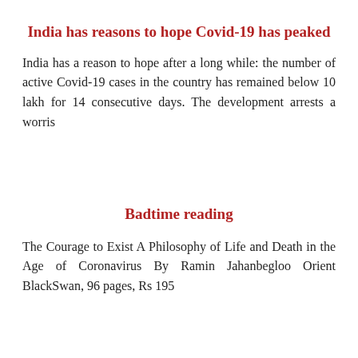India has reasons to hope Covid-19 has peaked
India has a reason to hope after a long while: the number of active Covid-19 cases in the country has remained below 10 lakh for 14 consecutive days. The development arrests a worris
Badtime reading
The Courage to Exist A Philosophy of Life and Death in the Age of Coronavirus By Ramin Jahanbegloo Orient BlackSwan, 96 pages, Rs 195